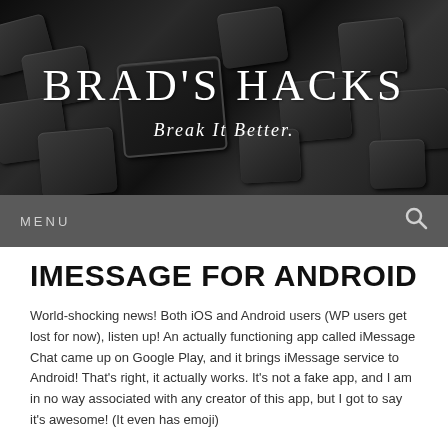[Figure (photo): Dark keyboard background with keys visible, serving as the header background image for Brad's Hacks blog]
BRAD'S HACKS
Break It Better.
MENU
IMESSAGE FOR ANDROID
World-shocking news! Both iOS and Android users (WP users get lost for now), listen up! An actually functioning app called iMessage Chat came up on Google Play, and it brings iMessage service to Android! That's right, it actually works. It's not a fake app, and I am in no way associated with any creator of this app, but I got to say it's awesome! (It even has emoji)